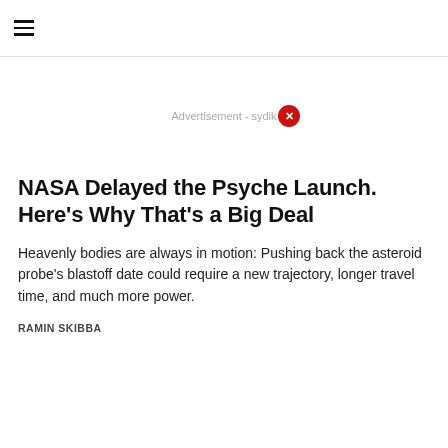≡
NASA Delayed the Psyche Launch. Here's Why That's a Big Deal
Heavenly bodies are always in motion: Pushing back the asteroid probe's blastoff date could require a new trajectory, longer travel time, and much more power.
RAMIN SKIBBA